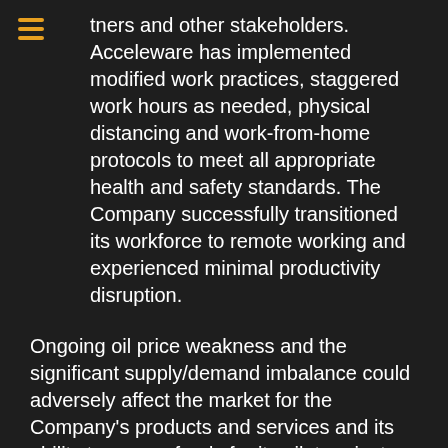tners and other stakeholders. Acceleware has implemented modified work practices, staggered work hours as needed, physical distancing and work-from-home protocols to meet all appropriate health and safety standards. The Company successfully transitioned its workforce to remote working and experienced minimal productivity disruption.
Ongoing oil price weakness and the significant supply/demand imbalance could adversely affect the market for the Company's products and services and its ability to secure funds for its pilot project.  In response, Management has been actively seeking alternative forms of financing including government assistance programs available for growth stage organizations